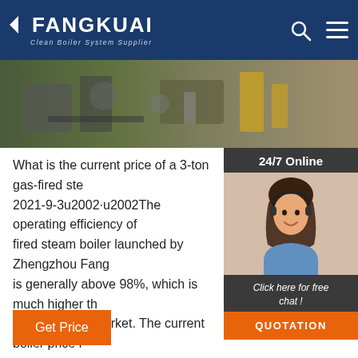FANGKUAI - Clean Boiler System Supplier
[Figure (photo): Hero image of industrial boiler equipment and piping]
[Figure (photo): 24/7 Online customer service representative with headset, smiling]
What is the current price of a 3-ton gas-fired ste... 2021-9-3u2002·u2002The operating efficiency of fired steam boiler launched by Zhengzhou Fang is generally above 98%, which is much higher th boilers on the market. The current boiler price i dollars. Here, Zhengzhou Fangkuai Boiler Factor everyone of the importance of boiler safety valv
Get Price
Click here for free chat !
QUOTATION
[Figure (logo): TOP button with orange dots arranged as arrow pointing up and text TOP in orange]